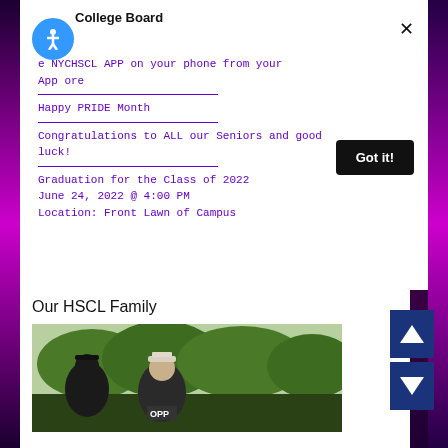College Board
e NYCHSCL APP on your phone from your App ore
Happy PRIDE Month
Congratulations to ALL our Seniors and good luck!
Graduation for the Class of 2022
June 24, 2022 @ 4:00 PM
Location: Front Lawn of Campus
Our HSCL Family
[Figure (photo): Photo of people wearing graduation caps, with green trees in background, partially visible; navigation arrows on right side]